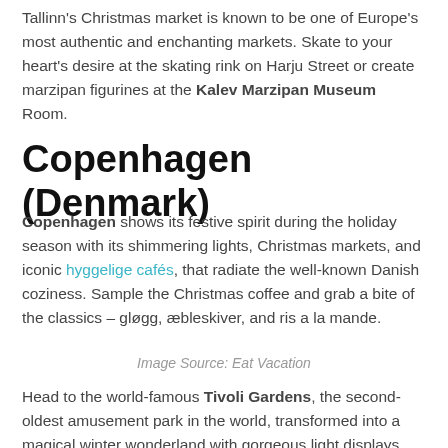Tallinn's Christmas market is known to be one of Europe's most authentic and enchanting markets. Skate to your heart's desire at the skating rink on Harju Street or create marzipan figurines at the Kalev Marzipan Museum Room.
Copenhagen (Denmark)
Copenhagen shows its festive spirit during the holiday season with its shimmering lights, Christmas markets, and iconic hyggelige cafés, that radiate the well-known Danish coziness. Sample the Christmas coffee and grab a bite of the classics – gløgg, æbleskiver, and ris a la mande.
Image Source: Eat Vacation
Head to the world-famous Tivoli Gardens, the second-oldest amusement park in the world, transformed into a magical winter wonderland with gorgeous light displays, fun rides, and stalls selling traditional goods and gifts.